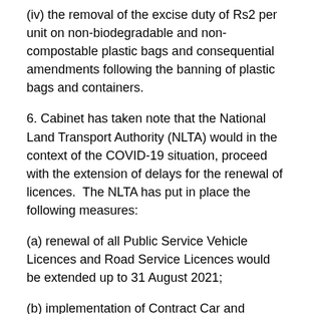(iv) the removal of the excise duty of Rs2 per unit on non-biodegradable and non-compostable plastic bags and consequential amendments following the banning of plastic bags and containers.
6. Cabinet has taken note that the National Land Transport Authority (NLTA) would in the context of the COVID-19 situation, proceed with the extension of delays for the renewal of licences.  The NLTA has put in place the following measures:
(a) renewal of all Public Service Vehicle Licences and Road Service Licences would be extended up to 31 August 2021;
(b) implementation of Contract Car and Contract Bus Licences was being extended up to 31 August 2021;